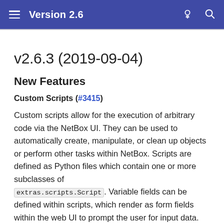Version 2.6
v2.6.3 (2019-09-04)
New Features
Custom Scripts (#3415)
Custom scripts allow for the execution of arbitrary code via the NetBox UI. They can be used to automatically create, manipulate, or clean up objects or perform other tasks within NetBox. Scripts are defined as Python files which contain one or more subclasses of extras.scripts.Script. Variable fields can be defined within scripts, which render as form fields within the web UI to prompt the user for input data. Scripts are executed and information is logged via the web UI. Please see the docs